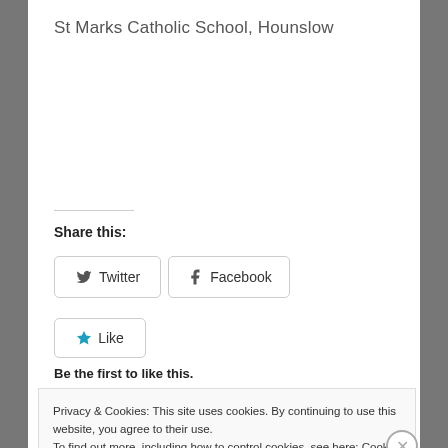St Marks Catholic School, Hounslow
Share this:
Twitter
Facebook
Like
Be the first to like this.
Privacy & Cookies: This site uses cookies. By continuing to use this website, you agree to their use.
To find out more, including how to control cookies, see here: Cookie Policy
Close and accept